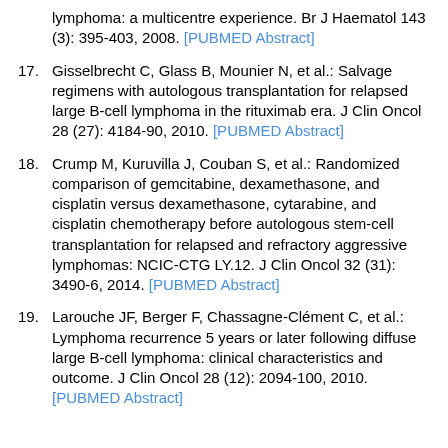lymphoma: a multicentre experience. Br J Haematol 143 (3): 395-403, 2008. [PUBMED Abstract]
17. Gisselbrecht C, Glass B, Mounier N, et al.: Salvage regimens with autologous transplantation for relapsed large B-cell lymphoma in the rituximab era. J Clin Oncol 28 (27): 4184-90, 2010. [PUBMED Abstract]
18. Crump M, Kuruvilla J, Couban S, et al.: Randomized comparison of gemcitabine, dexamethasone, and cisplatin versus dexamethasone, cytarabine, and cisplatin chemotherapy before autologous stem-cell transplantation for relapsed and refractory aggressive lymphomas: NCIC-CTG LY.12. J Clin Oncol 32 (31): 3490-6, 2014. [PUBMED Abstract]
19. Larouche JF, Berger F, Chassagne-Clément C, et al.: Lymphoma recurrence 5 years or later following diffuse large B-cell lymphoma: clinical characteristics and outcome. J Clin Oncol 28 (12): 2094-100, 2010. [PUBMED Abstract]